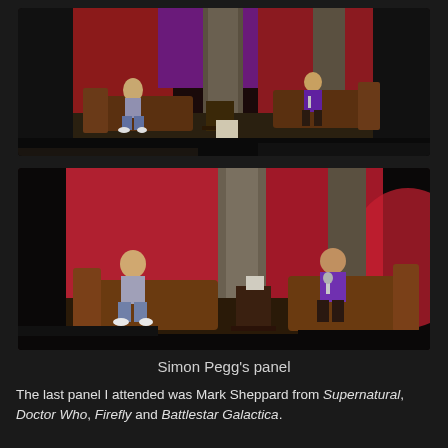[Figure (photo): Two people sitting on stage with brown leather couches and red/purple backdrop with stone pillars — wide shot from audience perspective]
[Figure (photo): Same stage scene, closer shot: two people on brown leather couches, one in jeans the other in purple shirt, red curtain backdrop with stone pillar]
Simon Pegg's panel
The last panel I attended was Mark Sheppard from Supernatural, Doctor Who, Firefly and Battlestar Galactica.